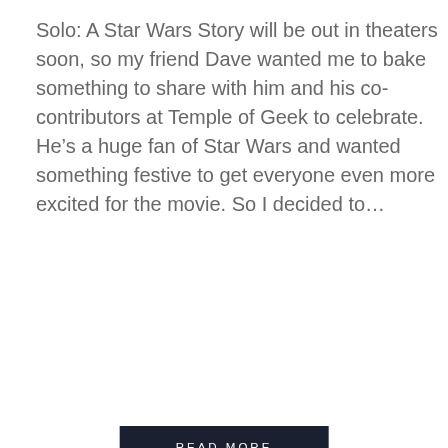Solo: A Star Wars Story will be out in theaters soon, so my friend Dave wanted me to bake something to share with him and his co-contributors at Temple of Geek to celebrate. He's a huge fan of Star Wars and wanted something festive to get everyone even more excited for the movie. So I decided to...
READ MORE
[Figure (photo): Close-up photo of chocolate brownies with butterscotch or peanut butter chips on top, showing a rich dark chocolatey texture with a piece missing from the center revealing the fudgy interior.]